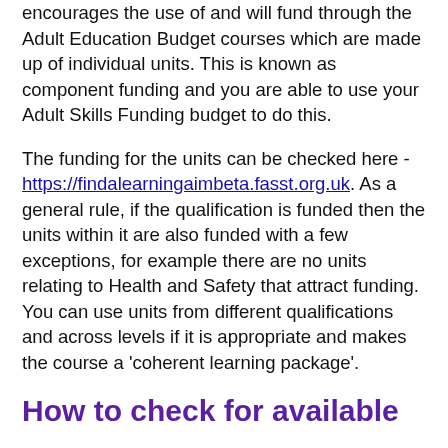encourages the use of and will fund through the Adult Education Budget courses which are made up of individual units. This is known as component funding and you are able to use your Adult Skills Funding budget to do this.
The funding for the units can be checked here - https://findalearningaimbeta.fasst.org.uk. As a general rule, if the qualification is funded then the units within it are also funded with a few exceptions, for example there are no units relating to Health and Safety that attract funding. You can use units from different qualifications and across levels if it is appropriate and makes the course a 'coherent learning package'.
How to check for available